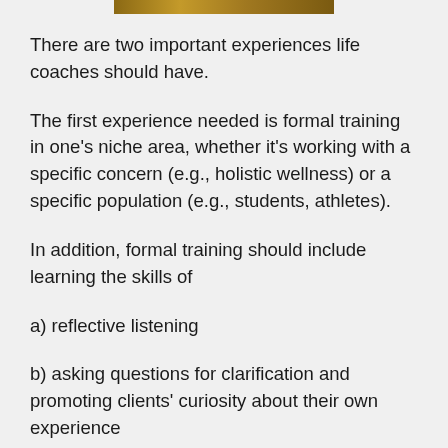[Figure (photo): Partial image at top of page, appears to be a cropped photo]
There are two important experiences life coaches should have.
The first experience needed is formal training in one's niche area, whether it's working with a specific concern (e.g., holistic wellness) or a specific population (e.g., students, athletes).
In addition, formal training should include learning the skills of
a) reflective listening
b) asking questions for clarification and promoting clients' curiosity about their own experience